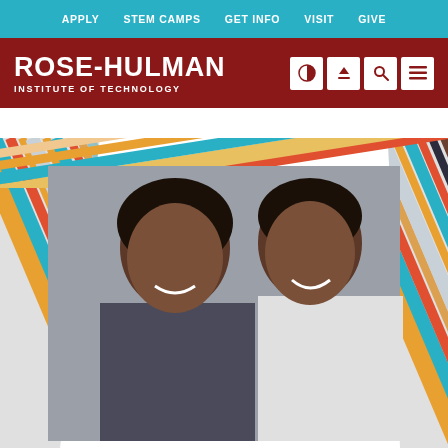APPLY  STEM CAMPS  GET INFO  VISIT  GIVE
[Figure (logo): Rose-Hulman Institute of Technology logo with navigation icons on dark red background]
[Figure (photo): Two smiling young women posing together, one in a grey sweater with locs and one in a white patterned shirt with braided hair, set against a colorful diagonal striped frame border]